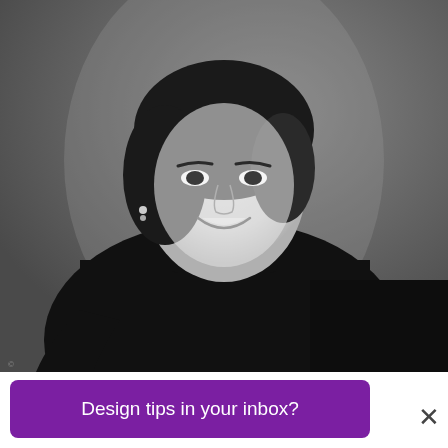[Figure (photo): Black and white portrait photograph of a woman with dark hair wearing a black turtleneck, smiling at the camera, seated against a gray background.]
Design tips in your inbox?